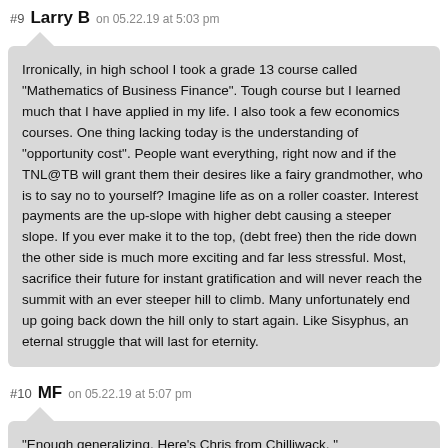#9 Larry B on 05.22.19 at 5:03 pm
Irronically, in high school I took a grade 13 course called “Mathematics of Business Finance”. Tough course but I learned much that I have applied in my life. I also took a few economics courses. One thing lacking today is the understanding of “opportunity cost”. People want everything, right now and if the TNL@TB will grant them their desires like a fairy grandmother, who is to say no to yourself? Imagine life as on a roller coaster. Interest payments are the up-slope with higher debt causing a steeper slope. If you ever make it to the top, (debt free) then the ride down the other side is much more exciting and far less stressful. Most, sacrifice their future for instant gratification and will never reach the summit with an ever steeper hill to climb. Many unfortunately end up going back down the hill only to start again. Like Sisyphus, an eternal struggle that will last for eternity.
#10 MF on 05.22.19 at 5:07 pm
“Enough generalizing. Here’s Chris from Chilliwack, ”

-Probably a good move, since you neglected to mention all the UNpaid